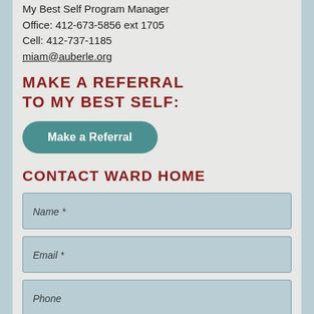My Best Self Program Manager
Office: 412-673-5856 ext 1705
Cell: 412-737-1185
miam@auberle.org
MAKE A REFERRAL TO MY BEST SELF:
[Figure (other): Teal rounded button labeled 'Make a Referral']
CONTACT WARD HOME
Name *
Email *
Phone
Address